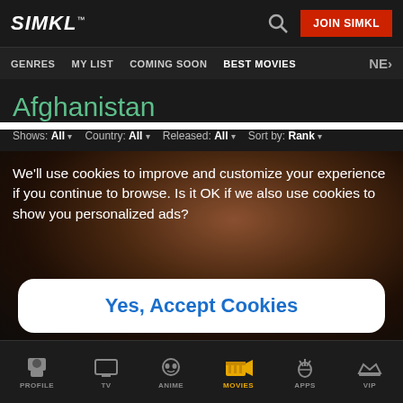SIMKL™ [search] JOIN SIMKL
GENRES  MY LIST  COMING SOON  BEST MOVIES  NEW>
Afghanistan
Shows: All ▾  Country: All ▾  Released: All ▾  Sort by: Rank ▾
We'll use cookies to improve and customize your experience if you continue to browse. Is it OK if we also use cookies to show you personalized ads?
Yes, Accept Cookies
PROFILE  TV  ANIME  MOVIES  APPS  VIP